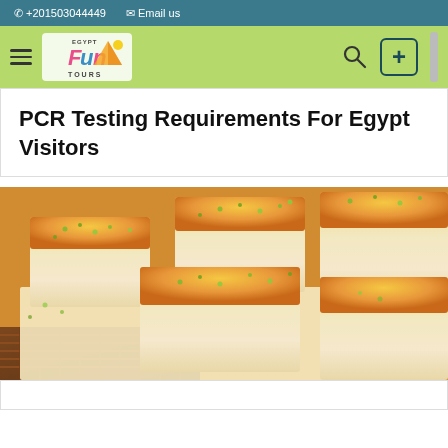📞 +201503044449   ✉ Email us
[Figure (logo): Egypt Fun Tours logo with colorful stylized text and pyramid/sun graphic on lime green navigation bar with hamburger menu, search icon, and plus button]
PCR Testing Requirements For Egypt Visitors
[Figure (photo): Close-up photo of Egyptian dessert basbousa (semolina cake) pieces topped with orange-golden crust and green pistachio crumbles, arranged on brown paper with a woven mat beneath]